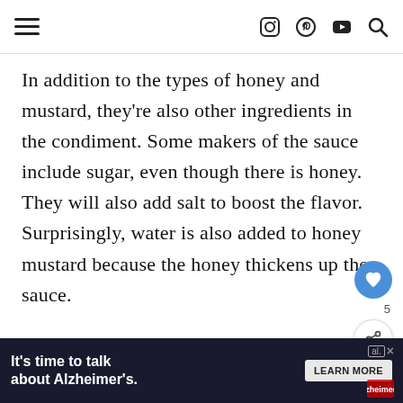Navigation header with hamburger menu and social icons
In addition to the types of honey and mustard, they're also other ingredients in the condiment. Some makers of the sauce include sugar, even though there is honey. They will also add salt to boost the flavor. Surprisingly, water is also added to honey mustard because the honey thickens up the sauce.
Preservatives like citric acid help the sauce fo...
[Figure (screenshot): What's Next promotional widget showing Does Garlic Powder Go... article]
[Figure (infographic): Advertisement banner: It's time to talk about Alzheimer's. LEARN MORE - Alzheimer's Association]